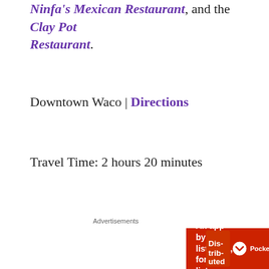Ninfa's Mexican Restaurant, and the Clay Pot Restaurant.
Downtown Waco | Directions
Travel Time: 2 hours 20 minutes
Advertisements
[Figure (infographic): Red advertisement banner for Pocket Casts app with text 'An app by listeners, for listeners.' and a book/phone image on the right with Pocket Casts logo.]